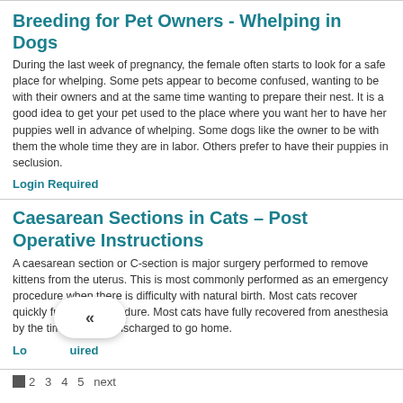Breeding for Pet Owners - Whelping in Dogs
During the last week of pregnancy, the female often starts to look for a safe place for whelping. Some pets appear to become confused, wanting to be with their owners and at the same time wanting to prepare their nest. It is a good idea to get your pet used to the place where you want her to have her puppies well in advance of whelping. Some dogs like the owner to be with them the whole time they are in labor. Others prefer to have their puppies in seclusion.
Login Required
Caesarean Sections in Cats – Post Operative Instructions
A caesarean section or C-section is major surgery performed to remove kittens from the uterus. This is most commonly performed as an emergency procedure when there is difficulty with natural birth. Most cats recover quickly from this procedure. Most cats have fully recovered from anesthesia by the time they are discharged to go home.
Login Required
2 3 4 5 next